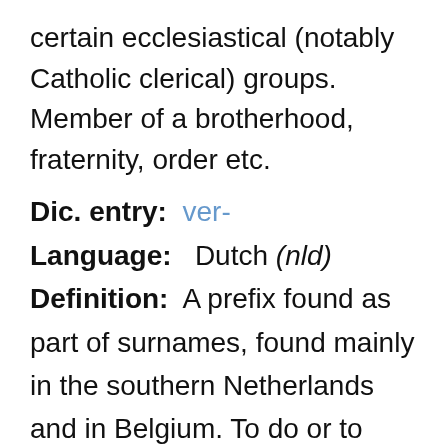certain ecclesiastical (notably Catholic clerical) groups. Member of a brotherhood, fraternity, order etc.
Dic. entry: ver-
Language: Dutch (nld)
Definition: A prefix found as part of surnames, found mainly in the southern Netherlands and in Belgium. To do or to become what the stem (following this prefix) refers to. To move or change in the manner specified by the stem. Used to indicate that the action (referred to by the stem) has a certain connotation...